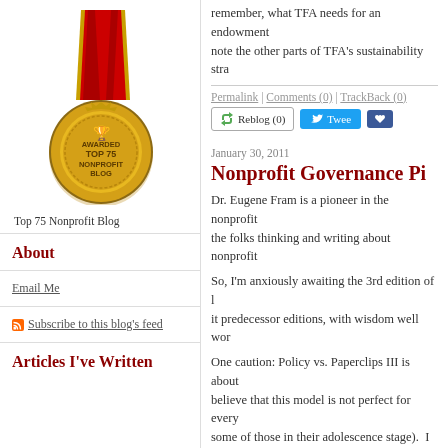[Figure (illustration): Gold medal with red ribbon awarded Top 75 Nonprofit Blog badge]
Top 75 Nonprofit Blog
About
Email Me
Subscribe to this blog's feed
Articles I've Written
remember, what TFA needs for an endowment note the other parts of TFA's sustainability stra
Permalink | Comments (0) | TrackBack (0)
Reblog (0)  Twee  [Like]
January 30, 2011
Nonprofit Governance Pi
Dr. Eugene Fram is a pioneer in the nonprofit the folks thinking and writing about nonprofit
So, I'm anxiously awaiting the 3rd edition of l it predecessor editions, with wisdom well wor
One caution: Policy vs. Paperclips III is about believe that this model is not perfect for every some of those in their adolescence stage). I al members fully passionate and engaged can be
That said, many of the concepts Dr. Fram offe This book is due in March 2011. You can get get my copy.
Permalink | Comments (1) | TrackBack (0)
Reblog (0)  Twee  [Like]